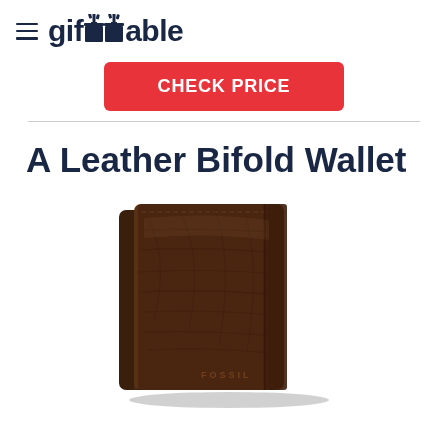giftTable
CHECK PRICE
A Leather Bifold Wallet
[Figure (photo): A dark brown leather bifold wallet with visible grain texture and Fossil branding, shown closed from a slight angle.]